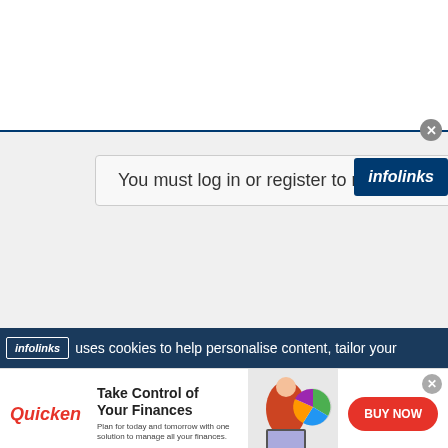[Figure (screenshot): Top white area of a web forum page with a blue border at the bottom]
You must log in or register to reply here.
[Figure (logo): infolinks logo badge (dark blue background, white italic text)]
infolinks uses cookies to help personalise content, tailor your
[Figure (infographic): Quicken advertisement: Take Control of Your Finances — Plan for today and tomorrow with one solution to manage all your finances. BUY NOW button.]